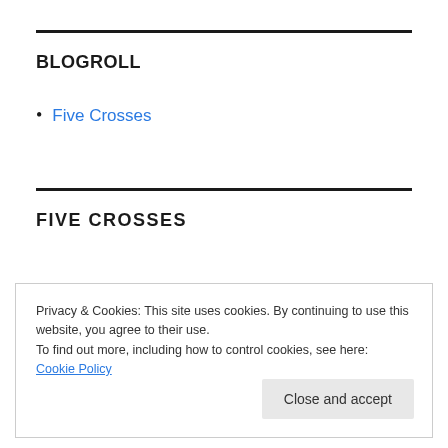BLOGROLL
Five Crosses
FIVE CROSSES
Privacy & Cookies: This site uses cookies. By continuing to use this website, you agree to their use.
To find out more, including how to control cookies, see here:
Cookie Policy
Close and accept